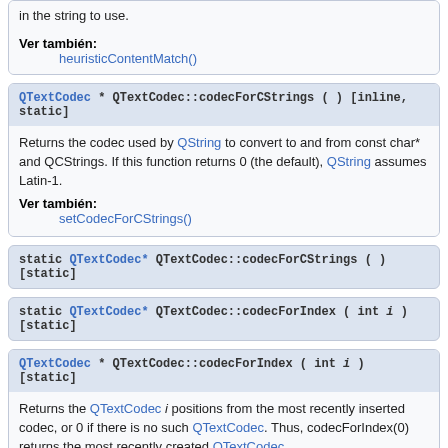in the string to use.
Ver también: heuristicContentMatch()
QTextCodec * QTextCodec::codecForCStrings ( ) [inline, static]
Returns the codec used by QString to convert to and from const char* and QCStrings. If this function returns 0 (the default), QString assumes Latin-1.
Ver también: setCodecForCStrings()
static QTextCodec* QTextCodec::codecForCStrings ( ) [static]
static QTextCodec* QTextCodec::codecForIndex ( int i ) [static]
QTextCodec * QTextCodec::codecForIndex ( int i ) [static]
Returns the QTextCodec i positions from the most recently inserted codec, or 0 if there is no such QTextCodec. Thus, codecForIndex(0) returns the most recently created QTextCodec.
static QTextCodec* QTextCodec::codecForLocale ( ) [static]